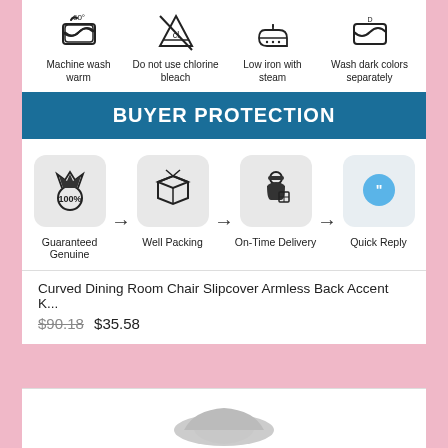[Figure (infographic): Care instruction icons: Machine wash warm, Do not use chlorine bleach, Low iron with steam, Wash dark colors separately]
BUYER PROTECTION
[Figure (infographic): Buyer protection process icons: Guaranteed Genuine → Well Packing → On-Time Delivery → Quick Reply]
Curved Dining Room Chair Slipcover Armless Back Accent K...
$90.18 $35.58
[Figure (photo): Product photo of a curved dining room chair slipcover]